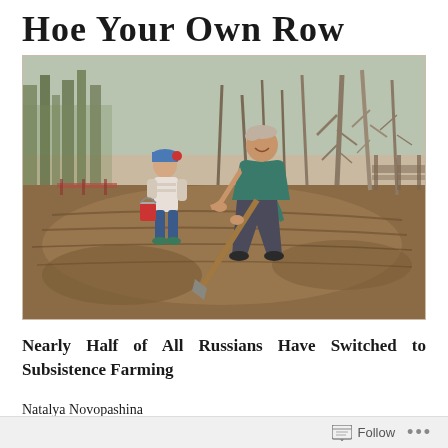Hoe Your Own Row
[Figure (photo): An older man smiling and digging with a shovel in a garden plot, with a young child holding a red bucket standing nearby. Bare trees and brush visible in background. Spring garden scene.]
Nearly Half of All Russians Have Switched to Subsistence Farming
Natalya Novopashina
RBC
Follow